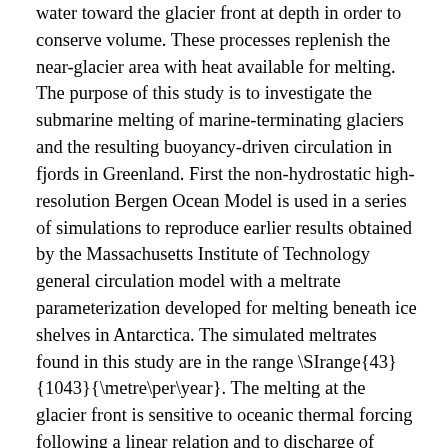water toward the glacier front at depth in order to conserve volume. These processes replenish the near-glacier area with heat available for melting. The purpose of this study is to investigate the submarine melting of marine-terminating glaciers and the resulting buoyancy-driven circulation in fjords in Greenland. First the non-hydrostatic high-resolution Bergen Ocean Model is used in a series of simulations to reproduce earlier results obtained by the Massachusetts Institute of Technology general circulation model with a meltrate parameterization developed for melting beneath ice shelves in Antarctica. The simulated meltrates found in this study are in the range \SIrange{43}{1043}{\metre\per\year}. The melting at the glacier front is sensitive to oceanic thermal forcing following a linear relation and to discharge of surface runoff following a cubic root relation. Then, it is attempted to apply this modelling approach to glacial fjords in Svalbard. The modelled fjords in these simulations are shallower than the deep fjords of Greenland, and the consequences of smaller fjord depth are